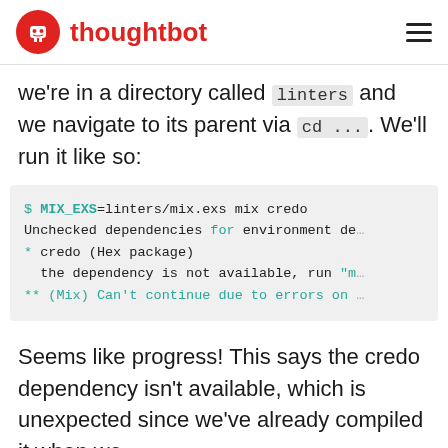thoughtbot
we're in a directory called `linters` and we navigate to its parent via `cd ...`. We'll run it like so:
[Figure (screenshot): Code block showing terminal output: $ MIX_EXS=linters/mix.exs mix credo
Unchecked dependencies for environment de...
* credo (Hex package)
  the dependency is not available, run "m...
** (Mix) Can't continue due to errors on ...]
Seems like progress! This says the credo dependency isn't available, which is unexpected since we've already compiled it when we